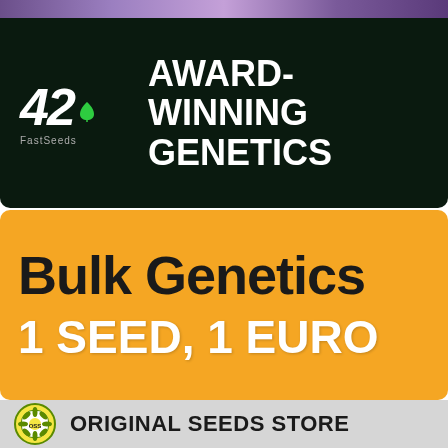[Figure (logo): Top decorative strip with purple/violet gradient colors]
[Figure (logo): Dark green/black banner with '420' logo on left and 'AWARD-WINNING GENETICS' text on right in white bold font]
[Figure (infographic): Orange background section with 'Bulk Genetics' in large black bold text and '1 SEED, 1 EURO' in large white bold text]
[Figure (logo): Gray footer bar with circular badge logo on left and 'ORIGINAL SEEDS STORE' text in dark bold font on the right]